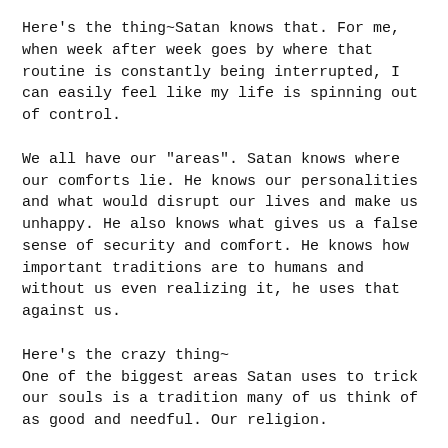Here's the thing~Satan knows that. For me, when week after week goes by where that routine is constantly being interrupted, I can easily feel like my life is spinning out of control.
We all have our "areas". Satan knows where our comforts lie. He knows our personalities and what would disrupt our lives and make us unhappy. He also knows what gives us a false sense of security and comfort. He knows how important traditions are to humans and without us even realizing it, he uses that against us.
Here's the crazy thing~
One of the biggest areas Satan uses to trick our souls is a tradition many of us think of as good and needful. Our religion.
I'm going to make a bold and somewhat scary statement